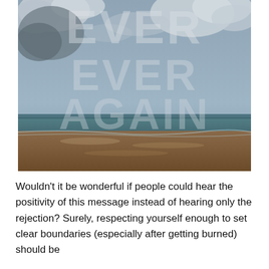[Figure (illustration): A painted beach landscape with a stormy grey sky and cloudy atmosphere. Overlaid large faded text reads 'EVER EVER AGAIN' in capital letters across the sky and lower portion of the image. The foreground shows a flat sandy beach with waves and a dark horizon line.]
Wouldn't it be wonderful if people could hear the positivity of this message instead of hearing only the rejection? Surely, respecting yourself enough to set clear boundaries (especially after getting burned) should be something to celebrate? It can actually be a huge...